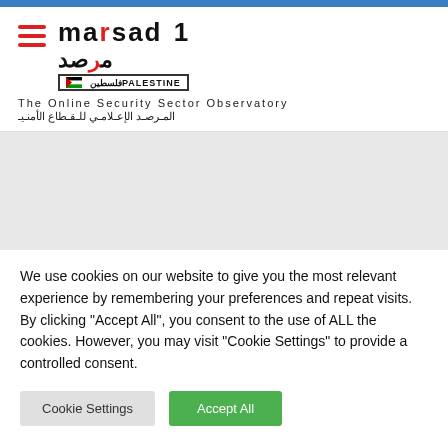[Figure (logo): Marsad 1 / مرصد 1 Palestine logo with hamburger menu icon, English subtitle 'The Online Security Sector Observatory' and Arabic subtitle المرصد الإعلامي للقطاع الأمني]
[Figure (other): Gray banner/placeholder area below the header]
We use cookies on our website to give you the most relevant experience by remembering your preferences and repeat visits. By clicking "Accept All", you consent to the use of ALL the cookies. However, you may visit "Cookie Settings" to provide a controlled consent.
Cookie Settings | Accept All